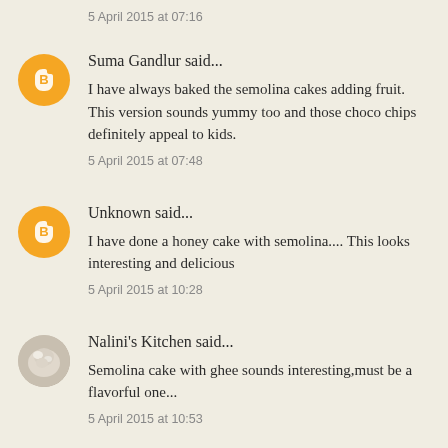5 April 2015 at 07:16
Suma Gandlur said...
I have always baked the semolina cakes adding fruit. This version sounds yummy too and those choco chips definitely appeal to kids.
5 April 2015 at 07:48
Unknown said...
I have done a honey cake with semolina.... This looks interesting and delicious
5 April 2015 at 10:28
Nalini's Kitchen said...
Semolina cake with ghee sounds interesting,must be a flavorful one...
5 April 2015 at 10:53